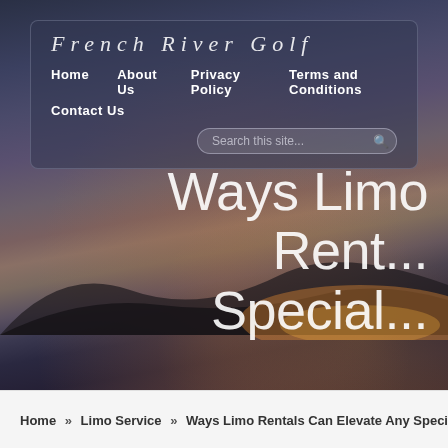[Figure (screenshot): French River Golf website screenshot showing navigation header with logo, nav links (Home, About Us, Privacy Policy, Terms and Conditions, Contact Us), search box, scenic sky/landscape hero image, and large page title text 'Ways Limo Rent... Special...']
French River Golf
Home   About Us   Privacy Policy   Terms and Conditions   Contact Us
Ways Limo Rentals Can Elevate Any Special O...
Home » Limo Service » Ways Limo Rentals Can Elevate Any Special O...